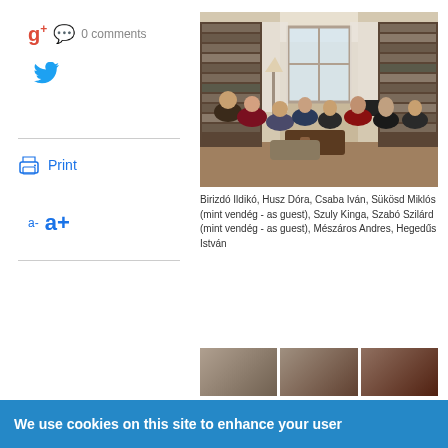g+ 0 comments
[Figure (photo): Group of people sitting in a living room with bookshelves, having a gathering or discussion]
Birizdó Ildikó, Husz Dóra, Csaba Iván, Sükösd Miklós (mint vendég - as guest), Szuly Kinga, Szabó Szilárd (mint vendég - as guest), Mészáros Andres, Hegedűs István
[Figure (photo): Three thumbnail photos at the bottom]
We use cookies on this site to enhance your user